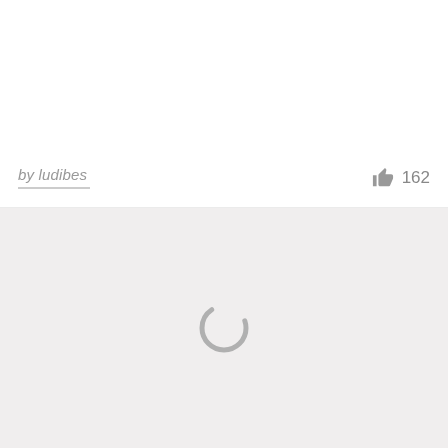[Figure (screenshot): White top section area, blank content panel]
by ludibes  👍 162
[Figure (screenshot): Light gray loading area with a circular spinner/loading indicator in the center]